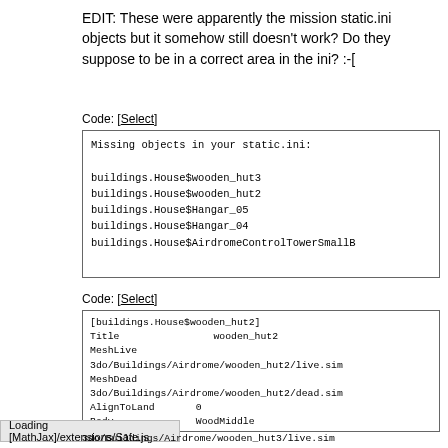EDIT: These were apparently the mission static.ini objects but it somehow still doesn't work? Do they suppose to be in a correct area in the ini?  :-[
Code: [Select]
Missing objects in your static.ini:

buildings.House$wooden_hut3
buildings.House$wooden_hut2
buildings.House$Hangar_05
buildings.House$Hangar_04
buildings.House$AirdromeControlTowerSmallB
Code: [Select]
[buildings.House$wooden_hut2]
Title             wooden_hut2
MeshLive
3do/Buildings/Airdrome/wooden_hut2/live.sim
MeshDead
3do/Buildings/Airdrome/wooden_hut2/dead.sim
AlignToLand       0
Body              WoodMiddle
Panzer            2.1

[buildings.House$wooden_hut3]
Title             wooden_hut3
MeshLive
3do/Buildings/Airdrome/wooden_hut3/live.sim
MeshDead
3do/Buildings/Airdrome/wooden_hut3/dead.sim
AlignToLand       0
Body              WoodMiddle
Panzer            2.1

[buildings.House$AirdromeControlTowerSmallB]
Title             Airdrome_ControlTowerSmallB
Loading [MathJax]/extensions/Safe.js